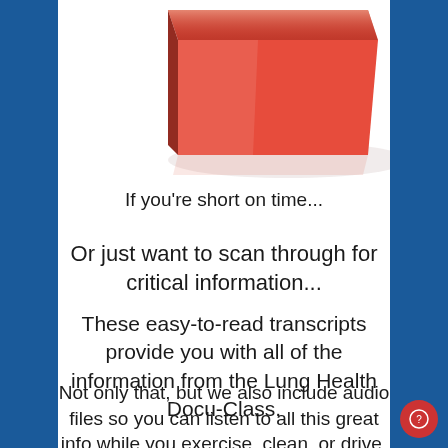[Figure (illustration): Partial view of a red 3D box/book object against white background, cropped at top]
If you're short on time...
Or just want to scan through for critical information...
These easy-to-read transcripts provide you with all of the information from the Lung Health Docu-Class.
Not only that, but we also include audio files so you can listen to all this great info while you exercise, clean, or drive.